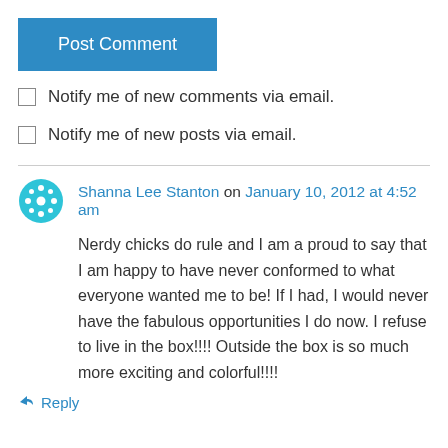Post Comment
Notify me of new comments via email.
Notify me of new posts via email.
Shanna Lee Stanton on January 10, 2012 at 4:52 am
Nerdy chicks do rule and I am a proud to say that I am happy to have never conformed to what everyone wanted me to be! If I had, I would never have the fabulous opportunities I do now. I refuse to live in the box!!!! Outside the box is so much more exciting and colorful!!!!
↳ Reply